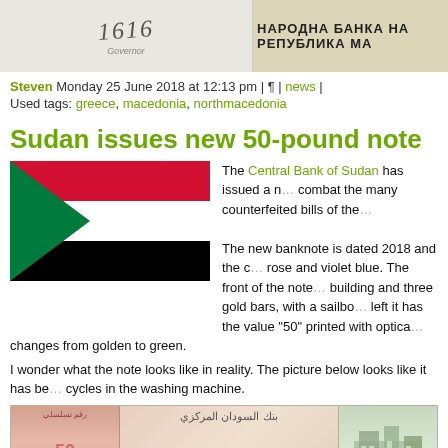[Figure (photo): Top portion of a banknote image showing handwritten signature on left and Cyrillic text 'НАРОДНА БАНКА НА РЕПУБЛИКА МА' on right]
Steven Monday 25 June 2018 at 12:13 pm | ¶ | news |
Used tags: greece, macedonia, northmacedonia
Sudan issues new 50-pound note
[Figure (illustration): Sudan flag with red, white, and black horizontal stripes and green triangle on the left]
The Central Bank of Sudan has issued a new note to combat the many counterfeited bills of the...

The new banknote is dated 2018 and the colors are rose and violet blue. The front of the note shows a building and three gold bars, with a sailboat. To the left it has the value "50" printed with optical ink that changes from golden to green.
I wonder what the note looks like in reality. The picture below looks like it has been through a few cycles in the washing machine.
[Figure (photo): Sudan 50-pound banknote showing Arabic text 'بنك السودان المركزي' and serial number FJ0000000, with pink/rose coloring on the left and green/teal building image on the right]